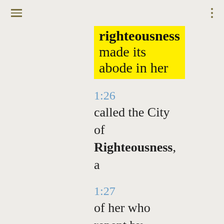≡  ⋮
righteousness made its abode in her
1:26 called the City of Righteousness, a
1:27 of her who repent by righteousness
5:7 he expected righteousness, but there
5:16 himself holy by his